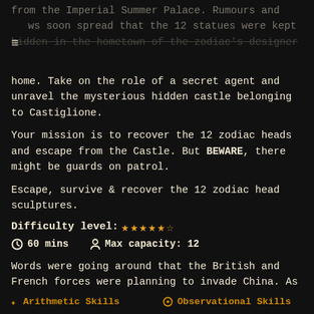from the Imperial Summer Palace. Rumours and news soon spread that the 12 statues were kept hidden in the hometown of the zodiac's designer home. Take on the role of a secret agent and unravel the mysterious hidden castle belonging to Castiglione.
Your mission is to recover the 12 zodiac heads and escape from the Castle. But BEWARE, there might be guards on patrol.
Escape, survive & recover the 12 zodiac head sculptures.
Difficulty level: ★★★★★½
⊙ 60 mins   👤 Max capacity: 12
Words were going around that the British and French forces were planning to invade China. As a precautionary measure, I hid the sculptures in my home in a desperate attempt to safe-keep them.
✦ Arithmetic Skills   ⊙ Observational Skills